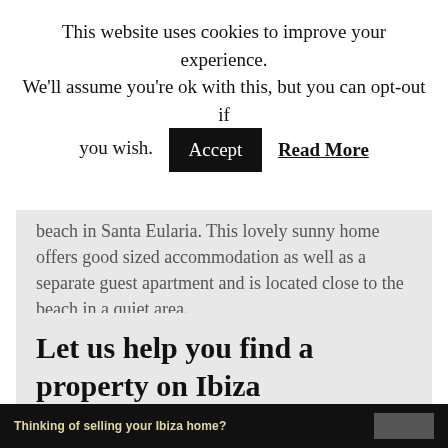This website uses cookies to improve your experience. We'll assume you're ok with this, but you can opt-out if you wish. [Accept] [Read More]
beach in Santa Eularia. This lovely sunny home offers good sized accommodation as well as a separate guest apartment and is located close to the beach in a quiet area.
For Sale €730,000
READ MORE
Let us help you find a property on Ibiza
Thinking of selling your Ibiza home?